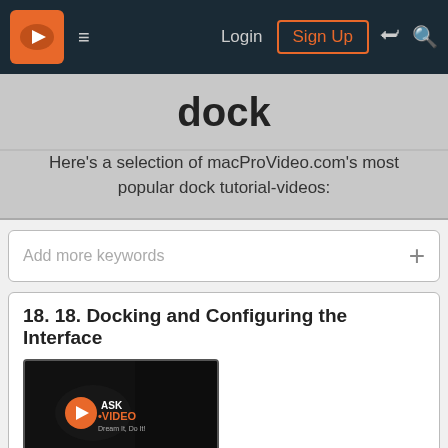Login  Sign Up
dock
Here's a selection of macProVideo.com's most popular dock tutorial-videos:
Add more keywords
18. 18. Docking and Configuring the Interface
[Figure (screenshot): ASK VIDEO thumbnail with duration badge '2m 12s']
OBS 101
OBS 101 - The OBS Video Manual
OBS Studio is a free and open source software for video recording and live streaming. Learn the power of the Open